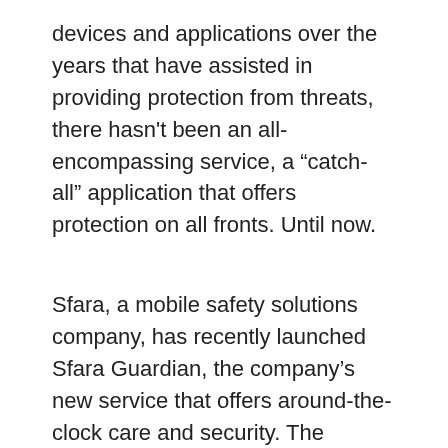devices and applications over the years that have assisted in providing protection from threats, there hasn't been an all-encompassing service, a “catch-all” application that offers protection on all fronts. Until now.
Sfara, a mobile safety solutions company, has recently launched Sfara Guardian, the company’s new service that offers around-the-clock care and security. The company believes that the service could revolutionize the security industry, and it very well could.
Sfara Guardian comes in the form of a mobile application that connects users to what Sfara calls